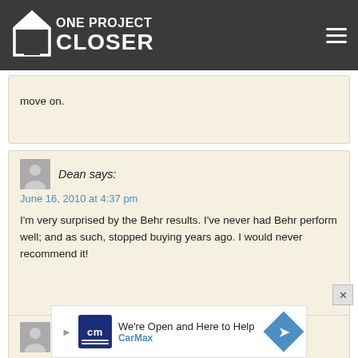One Project Closer
move on.
Dean says:
June 16, 2010 at 4:37 pm

I'm very surprised by the Behr results. I've never had Behr perform well; and as such, stopped buying years ago. I would never recommend it!
[Figure (screenshot): CarMax advertisement: We're Open and Here to Help, CarMax logo with CM initials and directional arrow icon]